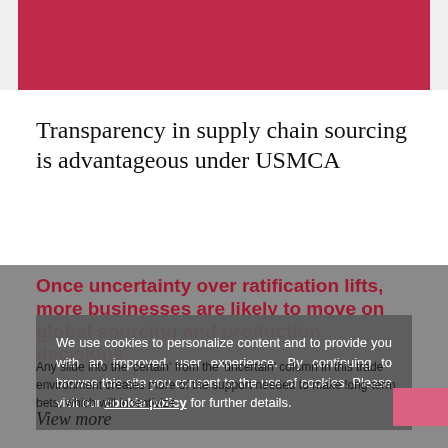[Figure (other): Red/crimson banner at top of page]
Transparency in supply chain sourcing is advantageous under USMCA
Once uncertainty over ratification lifts, more businesses are likely to move on global sourcing and production decisions
We use cookies to personalize content and to provide you with an improved user experience. By continuing to browse this site you consent to the use of cookies. Please visit our cookie policy for further details.
Any slide into the 'certain' from the 'uncertain' column in this trade environment creates more of the support needed to make long-term bets, which will incentivize
View more